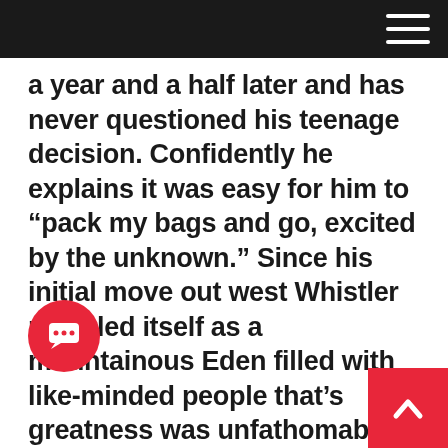a year and a half later and has never questioned his teenage decision. Confidently he explains it was easy for him to “pack my bags and go, excited by the unknown.” Since his initial move out west Whistler revealed itself as a mountainous Eden filled with like-minded people that’s greatness was unfathomable by a young Blake Jorgenson. The “concentrated community of people who love the outdoors” engulfed him. Surrounded by people that spoke the same mountain infused language, prioritized the same kind of fun and embraced the wild side of the developing town, Blake’s creativity flourished. His first five years in Whistler were spent skiing, biking and developing his talents, fitting in work when he could. As he began to more seriously pursue a career as a photographer he discovered that both in a professional and personal manner, “Whistler has